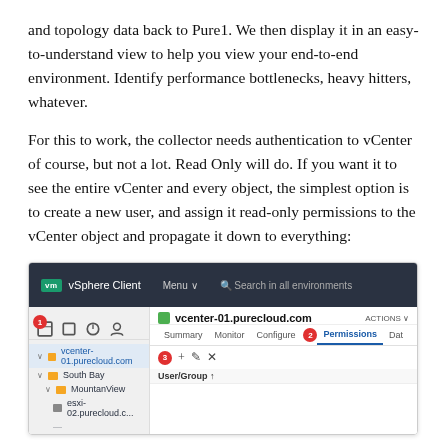and topology data back to Pure1. We then display it in an easy-to-understand view to help you view your end-to-end environment. Identify performance bottlenecks, heavy hitters, whatever.
For this to work, the collector needs authentication to vCenter of course, but not a lot. Read Only will do. If you want it to see the entire vCenter and every object, the simplest option is to create a new user, and assign it read-only permissions to the vCenter object and propagate it down to everything:
[Figure (screenshot): vSphere Client screenshot showing vcenter-01.purecloud.com with the Permissions tab selected. Left panel shows the vCenter hierarchy: vcenter-01.purecloud.com > South Bay > MountainView > esxi-02.purecloud.c... Numbered red badges mark steps 1, 2, and 3. Badge 1 is on the left panel icons, Badge 2 is near the Permissions tab, Badge 3 is next to the + button in the toolbar. The Permissions tab is active (underlined in blue). A toolbar shows +, pencil, and X icons. A table header shows 'User/Group' column.]